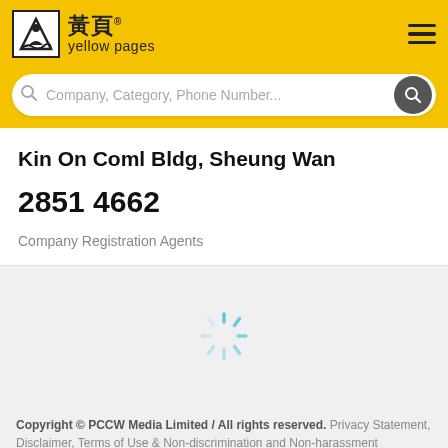[Figure (logo): Yellow Pages Hong Kong logo with Chinese characters 黃頁 and 'yellow pages' text on yellow background]
[Figure (screenshot): Search bar with placeholder text 'Company, Category, Phone Number...' and search button]
Kin On Coml Bldg, Sheung Wan
2851 4662
Company Registration Agents
[Figure (other): Loading spinner animation in light blue/cyan color]
Copyright © PCCW Media Limited / All rights reserved. Privacy Statement, Disclaimer, Terms of Use & Non-discrimination and Non-harassment Statement.